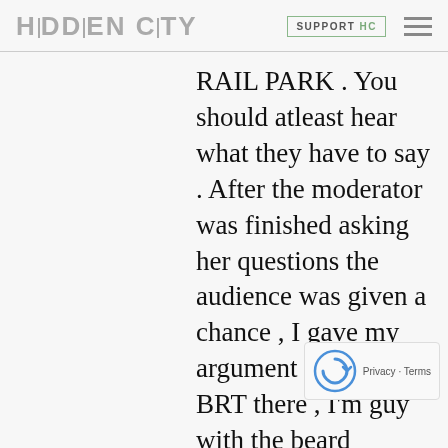HIDDEN CITY | SUPPORT HC
RAIL PARK . You should atleast hear what they have to say . After the moderator was finished asking her questions the audience was given a chance , I gave my argument against BRT there , I'm guy with the beard